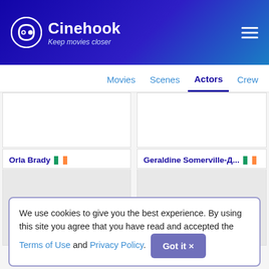Cinehook — Keep movies closer
Movies | Scenes | Actors | Crew
[Figure (photo): Actor card top row left — image area partially visible]
[Figure (photo): Actor card top row right — image area partially visible]
Orla Brady 🇮🇪
[Figure (photo): Orla Brady actor photo placeholder]
Geraldine Somerville-Д... 🇮🇪
[Figure (photo): Geraldine Somerville actor photo placeholder]
We use cookies to give you the best experience. By using this site you agree that you have read and accepted the Terms of Use and Privacy Policy. Got it ×